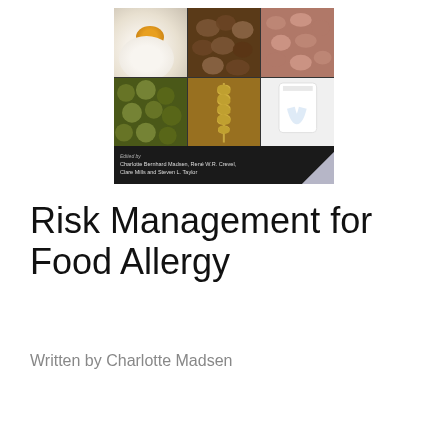[Figure (photo): Book cover of 'Risk Management for Food Allergy' showing a collage of food allergen images: eggs, nuts, dried fruit/salmon, soybeans, wheat, and milk. Below the images is a black bar with editor credits: Charlotte Bernhard Madsen, René W.R. Crevel, Clare Mills and Steven L. Taylor.]
Risk Management for Food Allergy
Written by Charlotte Madsen